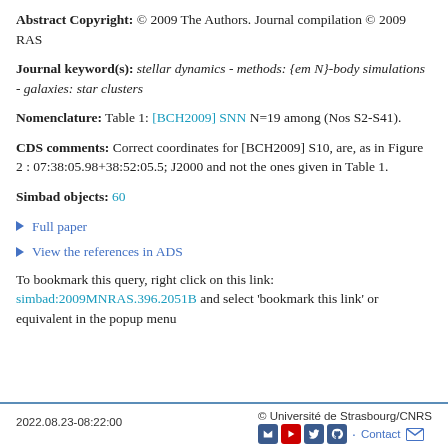Abstract Copyright: © 2009 The Authors. Journal compilation © 2009 RAS
Journal keyword(s): stellar dynamics - methods: {em N}-body simulations - galaxies: star clusters
Nomenclature: Table 1: [BCH2009] SNN N=19 among (Nos S2-S41).
CDS comments: Correct coordinates for [BCH2009] S10, are, as in Figure 2 : 07:38:05.98+38:52:05.5; J2000 and not the ones given in Table 1.
Simbad objects: 60
Full paper
View the references in ADS
To bookmark this query, right click on this link: simbad:2009MNRAS.396.2051B and select 'bookmark this link' or equivalent in the popup menu
2022.08.23-08:22:00   © Université de Strasbourg/CNRS   Contact